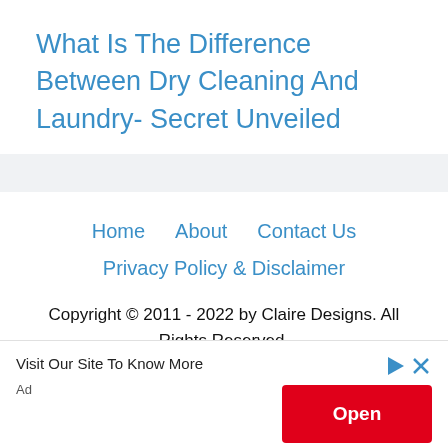What Is The Difference Between Dry Cleaning And Laundry- Secret Unveiled
Home   About   Contact Us
Privacy Policy & Disclaimer
Copyright © 2011 - 2022 by Claire Designs. All Rights Reserved.
[Figure (other): Advertisement banner with 'Visit Our Site To Know More' text and a red 'Open' button with play and close icons]